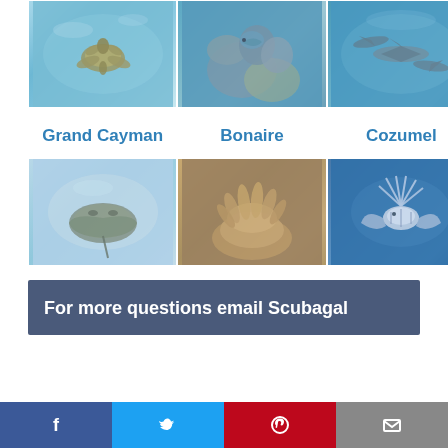[Figure (photo): Three underwater photos side by side: a sea turtle swimming, coral reef with fish, and sharks in open blue water]
Grand Cayman    Bonaire    Cozumel
[Figure (photo): Three underwater photos side by side: a stingray on sandy bottom, sea anemone on coral, and a lionfish]
For more questions email Scubagal
[Figure (other): Social share bar with Facebook, Twitter, Pinterest, and Email buttons]